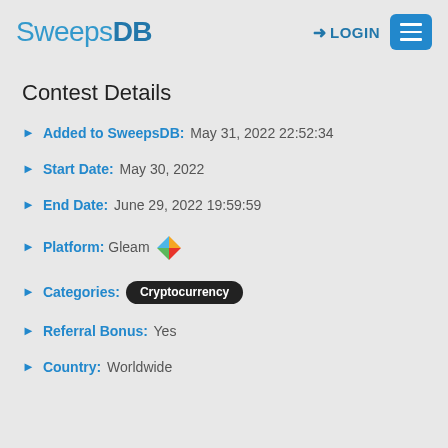SweepsDB LOGIN ☰
Contest Details
Added to SweepsDB: May 31, 2022 22:52:34
Start Date: May 30, 2022
End Date: June 29, 2022 19:59:59
Platform: Gleam
Categories: Cryptocurrency
Referral Bonus: Yes
Country: Worldwide